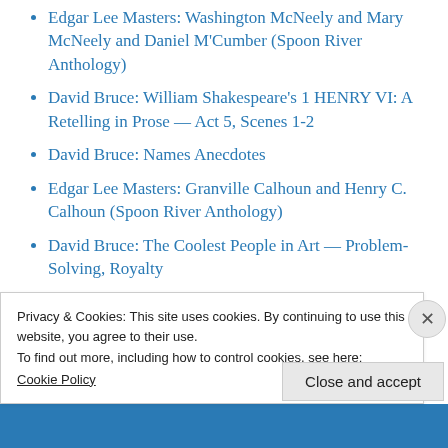Edgar Lee Masters: Washington McNeely and Mary McNeely and Daniel M'Cumber (Spoon River Anthology)
David Bruce: William Shakespeare's 1 HENRY VI: A Retelling in Prose — Act 5, Scenes 1-2
David Bruce: Names Anecdotes
Edgar Lee Masters: Granville Calhoun and Henry C. Calhoun (Spoon River Anthology)
David Bruce: The Coolest People in Art — Problem-Solving, Royalty
Music Recommendation: The Surfraisttes
Privacy & Cookies: This site uses cookies. By continuing to use this website, you agree to their use.
To find out more, including how to control cookies, see here:
Cookie Policy
Close and accept